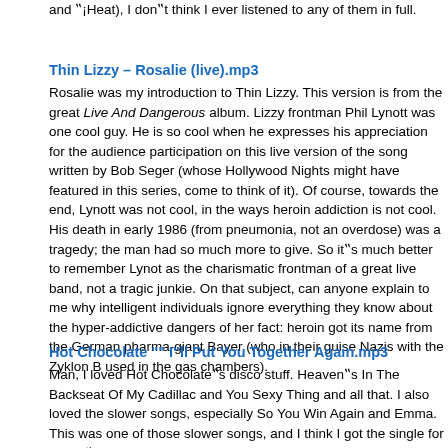and ‟¡Heal), I don‟t think I ever listened to any of them in full.
Thin Lizzy – Rosalie (live).mp3
Rosalie was my introduction to Thin Lizzy. This version is from the great Live And Dangerous album. Lizzy frontman Phil Lynott was one cool guy. He is so cool when he expresses his appreciation for the audience participation on this live version of the song written by Bob Seger (whose Hollywood Nights might have featured in this series, come to think of it). Of course, towards the end, Lynott was not cool, in the ways heroin addiction is not cool. His death in early 1986 (from pneumonia, not an overdose) was a tragedy; the man had so much more to give. So it‟s much better to remember Lynot as the charismatic frontman of a great live band, not a tragic junkie. On that subject, can anyone explain to me why intelligent individuals ignore everything they know about the hyper-addictive dangers of heroin? fact: heroin got its name from the German pharma-giant Bayer (who in their guise as Nazis with the Zyklon B used in the gas chambers).
Hot Chocolate "" I"ll Put You Together Again.mp3
Man, I loved Hot Chocolate‟s disco stuff. Heaven‟s In The Backseat Of My Cadillac and You Sexy Thing and all that. I also loved the slower songs, especially So You Win Again and Emma. This was one of those slower songs, and I think I got the single for my 13th birthday, on which my friends and I were allowed to share a bottle of white wine (well, it amounted to a small glass each). Errol Brown‟s vocals are fine, but it‟s the melody, which I‟m sure was inspired by some piece of classical music, that really appealed to me. Brown had had a ...